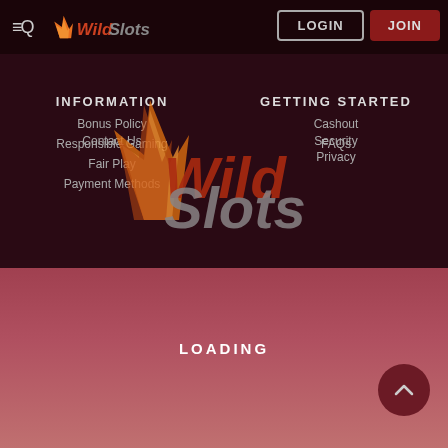[Figure (screenshot): WildSlots casino website screenshot showing navigation bar with hamburger menu, WildSlots logo, LOGIN and JOIN buttons, footer navigation links in two columns (INFORMATION and GETTING STARTED), a large WildSlots logo overlay, and a loading screen at the bottom with a scroll-to-top button.]
Contact Us
Security
Privacy
INFORMATION
GETTING STARTED
Bonus Policy
Responsible Gaming
Fair Play
Payment Methods
Cashout
FAQs
LOADING